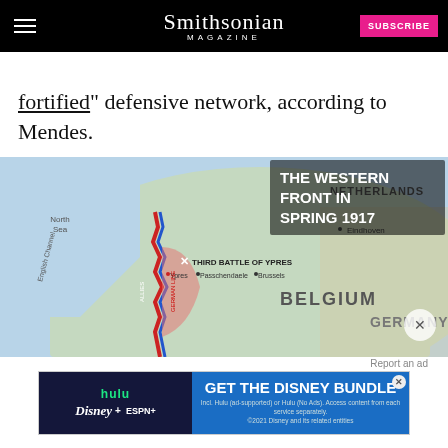Smithsonian Magazine
fortified" defensive network, according to Mendes.
[Figure (map): Map titled 'THE WESTERN FRONT IN SPRING 1917' showing Belgium, Netherlands, Germany, North Sea, English Channel, with markers for Third Battle of Ypres, Ypres, Passchendaele, Brussels, Eindhoven, and front lines.]
[Figure (screenshot): Disney Bundle advertisement banner featuring Hulu, Disney+, and ESPN+ logos with 'GET THE DISNEY BUNDLE' call to action.]